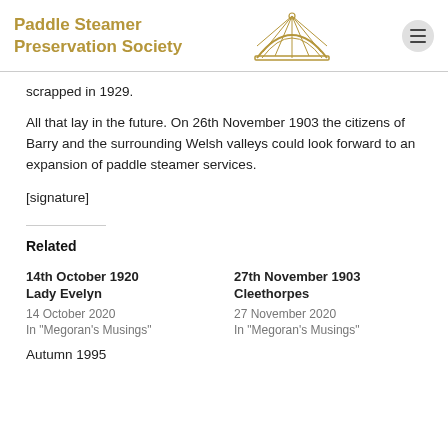Paddle Steamer Preservation Society
scrapped in 1929.
All that lay in the future. On 26th November 1903 the citizens of Barry and the surrounding Welsh valleys could look forward to an expansion of paddle steamer services.
[signature]
Related
14th October 1920 Lady Evelyn
14 October 2020
In "Megoran's Musings"
27th November 1903 Cleethorpes
27 November 2020
In "Megoran's Musings"
Autumn 1995